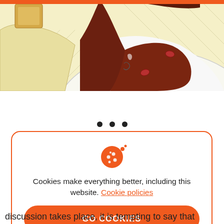[Figure (illustration): Cartoon/comic-style illustration showing a light yellow background with crosshatch shading, brown chocolate sauce dripping over a white surface, with two red bean-like shapes visible. An orange bar appears at the very top.]
• • •
Cookies make everything better, including this website. Cookie policies
GO COOKIES
discussion takes place, it is tempting to say that